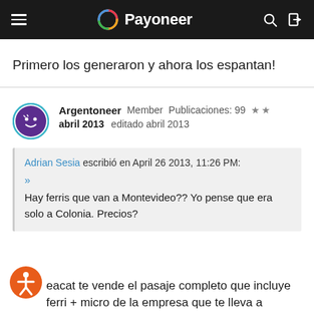Payoneer
Primero los generaron y ahora los espantan!
Argentoneer  Member  Publicaciones: 99  ★★
abril 2013  editado abril 2013
Adrian Sesia escribió en April 26 2013, 11:26 PM:
»
Hay ferris que van a Montevideo?? Yo pense que era solo a Colonia. Precios?
eacat te vende el pasaje completo que incluye ferri + micro de la empresa que te lleva a